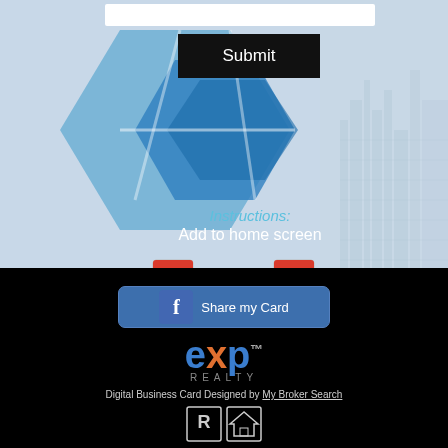[Figure (screenshot): White input bar at top of page form]
[Figure (screenshot): Black Submit button]
[Figure (illustration): Blue hexagonal geometric background design with city skyline silhouette on right]
Instructions:
Add to home screen
[Figure (illustration): iOS label with PDF icon and Android label with PDF icon]
[Figure (screenshot): Facebook Share my Card button in dark blue rounded rectangle]
[Figure (logo): eXp Realty logo in blue and orange]
Digital Business Card Designed by My Broker Search
[Figure (logo): REALTOR and Equal Housing Opportunity icons]